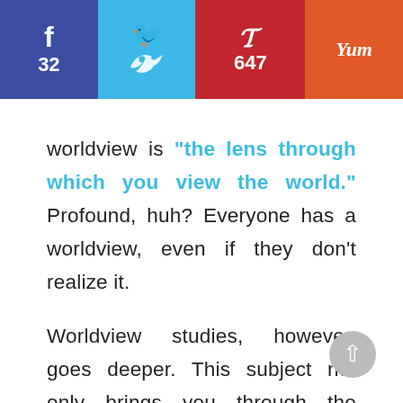[Figure (other): Social sharing bar with Facebook (32), Twitter, Pinterest (647), and Yummly buttons]
worldview is "the lens through which you view the world." Profound, huh? Everyone has a worldview, even if they don't realize it.

Worldview studies, however, goes deeper. This subject not only brings you through the process of understanding your own worldview, it teaches you how to understand the perspectives of other people. This is an incredibly important